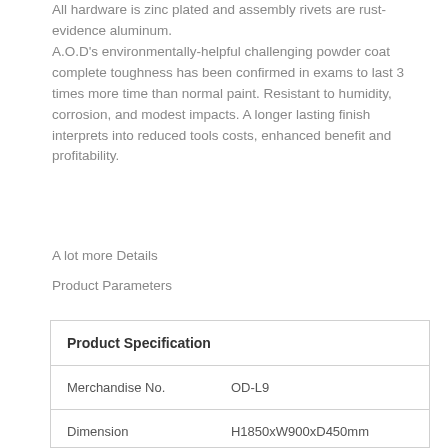All hardware is zinc plated and assembly rivets are rust-evidence aluminum. A.O.D's environmentally-helpful challenging powder coat complete toughness has been confirmed in exams to last 3 times more time than normal paint. Resistant to humidity, corrosion, and modest impacts. A longer lasting finish interprets into reduced tools costs, enhanced benefit and profitability.
A lot more Details
Product Parameters
| Product Specification |
| --- |
| Merchandise No. | OD-L9 |
| Dimension | H1850xW900xD450mm |